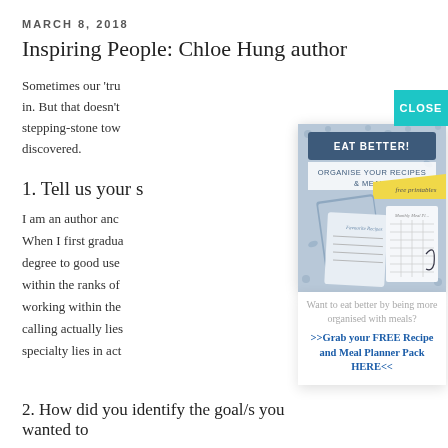MARCH 8, 2018
Inspiring People: Chloe Hung author
Sometimes our 'tru... in. But that doesn't stepping-stone tow discovered.
1. Tell us your s
I am an author anc When I first gradua degree to good use within the ranks of working within the calling actually lies specialty lies in act
[Figure (screenshot): Popup advertisement showing 'EAT BETTER! ORGANISE YOUR RECIPES & MEALS' with free printables recipe cards and meal planner images. Has a CLOSE button in teal in top right corner.]
Want to eat better by being more organised with meals?
>>Grab your FREE Recipe and Meal Planner Pack HERE<<
2. How did you identify the goal/s you wanted to